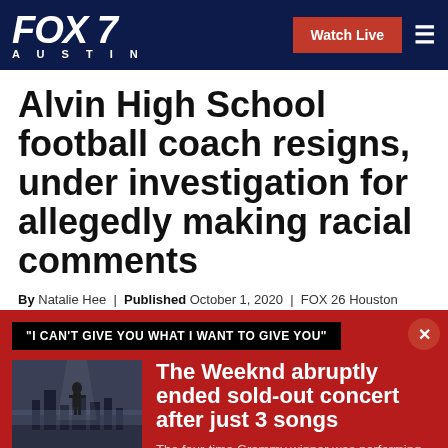FOX 7 AUSTIN | Watch Live
Alvin High School football coach resigns, under investigation for allegedly making racial comments
By Natalie Hee | Published October 1, 2020 | FOX 26 Houston
"I CAN'T GIVE YOU WHAT I WANT TO GIVE YOU"
[Figure (photo): Concert photo showing a performer on stage with dramatic lighting and fog effects]
The Weeknd abruptly ended sold-out concert after just 3 songs
The four-time Grammy winner was performing his third song "Can't Feel My Face" before he abruptly stopped his show at SoFi Stadium in Inglewood, California.